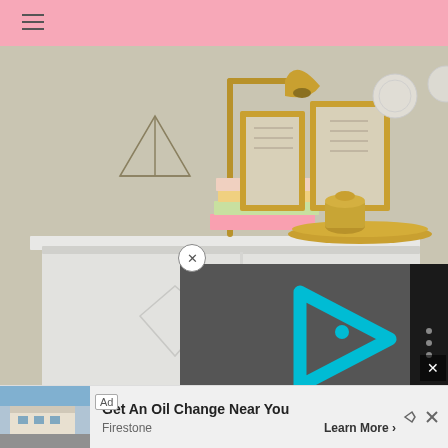[Figure (photo): Interior home decor photo showing a white sideboard/console table with a stack of colorful books, a geometric terrarium, a gold brass desk lamp, two gold-framed art prints on the wall, decorative plates, and a gold tray with a lidded jar]
[Figure (screenshot): Video player overlay showing a cyan/turquoise play button logo (invidi style) with time display 0:00, play button, fullscreen and more options controls on a dark background]
[Figure (infographic): Advertisement banner for Firestone oil change service showing a Firestone store photo, 'Ad' label, headline 'Get An Oil Change Near You', brand name 'Firestone', and 'Learn More' call-to-action button]